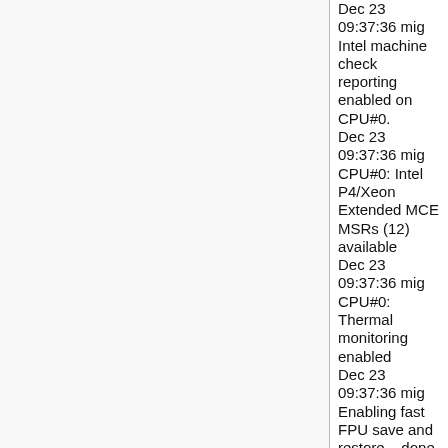Dec 23 09:37:36 mig Intel machine check reporting enabled on CPU#0.
Dec 23 09:37:36 mig CPU#0: Intel P4/Xeon Extended MCE MSRs (12) available
Dec 23 09:37:36 mig CPU#0: Thermal monitoring enabled
Dec 23 09:37:36 mig Enabling fast FPU save and restore... done.
Dec 23 09:37:36 mig Enabling unmasked SIMD FPU exception support... done.
Dec 23 09:37:36